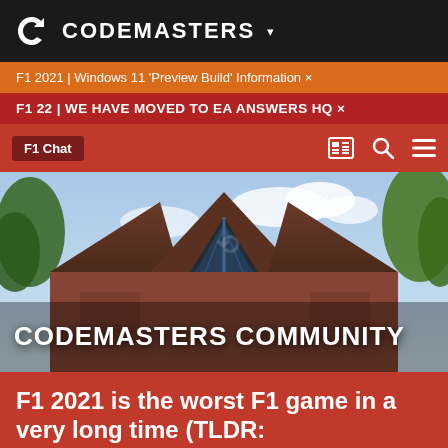CODEMASTERS ▾
F1 2021 | Windows 11 'Preview Build' Information ×
F1 22 | WE HAVE MOVED TO EA ANSWERS HQ ×
F1 Chat
[Figure (photo): Codemasters Community building exterior — a red-brick building with distinctive angular glass windows, surrounded by trees]
F1 2021 is the worst F1 game in a very long time (TLDR: